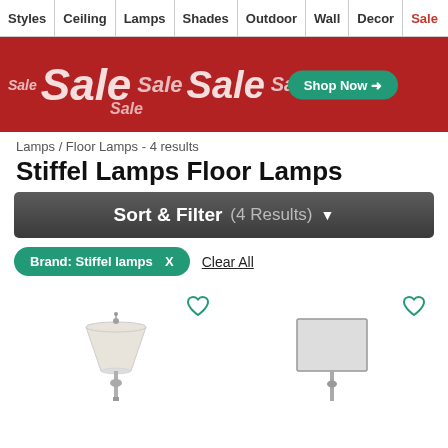Styles | Ceiling | Lamps | Shades | Outdoor | Wall | Decor | Sale
[Figure (illustration): Sale promotional banner with red background, repeated 'Sale' text in white italic, and a green 'Shop Now' button with arrow]
Lamps / Floor Lamps - 4 results
Stiffel Lamps Floor Lamps
Sort & Filter (4 Results) ▼
Brand: Stiffel lamps  X    Clear All
[Figure (photo): Floor lamp with white bell-shaped shade on a silver pole with decorative base, with a teal heart/wishlist icon]
[Figure (photo): Floor lamp with rectangular grey shade on a silver pole, with a teal heart/wishlist icon]